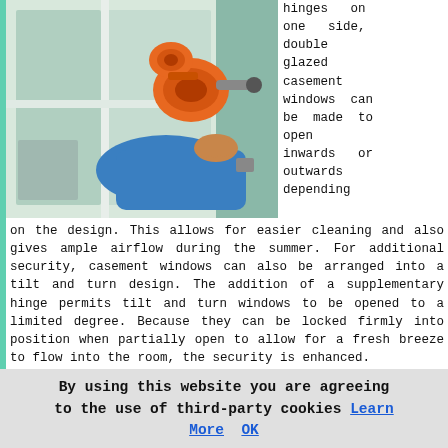[Figure (photo): A person in a blue long-sleeved shirt using an orange suction cup tool to handle/install a double glazed window pane. The window frame is white.]
hinges on one side, double glazed casement windows can be made to open inwards or outwards depending on the design. This allows for easier cleaning and also gives ample airflow during the summer. For additional security, casement windows can also be arranged into a tilt and turn design. The addition of a supplementary hinge permits tilt and turn windows to be opened to a limited degree. Because they can be locked firmly into position when partially open to allow for a fresh breeze to flow into the room, the security is enhanced.
To suit an older or period house in Ilford, there are also options available for double glazed sash windows with a traditional look. These can be found in both single hung and double hung versions, where either one or both sash...
By using this website you are agreeing to the use of third-party cookies Learn More  OK